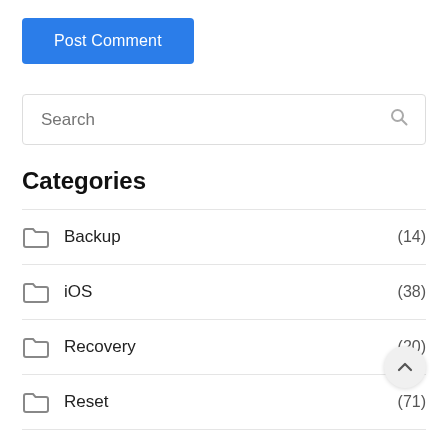Post Comment
Search
Categories
Backup (14)
iOS (38)
Recovery (20)
Reset (71)
Transfer (4)